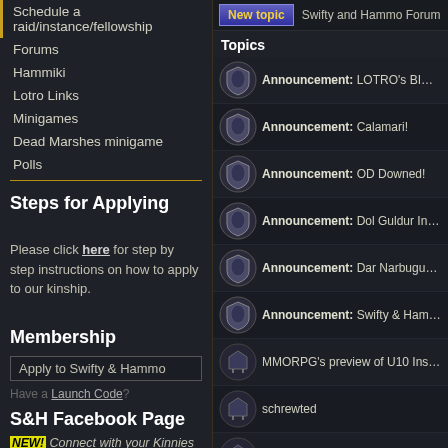Schedule a raid/instance/fellowship
Forums
Hammiki
Lotro Links
Minigames
Dead Marshes minigame
Polls
Steps for Applying
Please click here for step by step instructions on how to apply to our kinship.
Membership
Apply to Swifty & Hammo
Have a Launch Code?
S&H Facebook Page
NEW! Connect with your Kinnies socially on Swifty & Hammo's Facebook page.
Swifty and Hammo Forum
Topics
Announcement: LOTRO's BIGGEST R
Announcement: Calamari!
Announcement: OD Downed!
Announcement: Dol Guldur Instances
Announcement: Dar Narbugud Strate
Announcement: Swifty & Hammo's ne
MMORPG's preview of U10 Instances a
schrewted
The Grand Stair with The Benny Hill Th
A New Year of S&H Kin Event